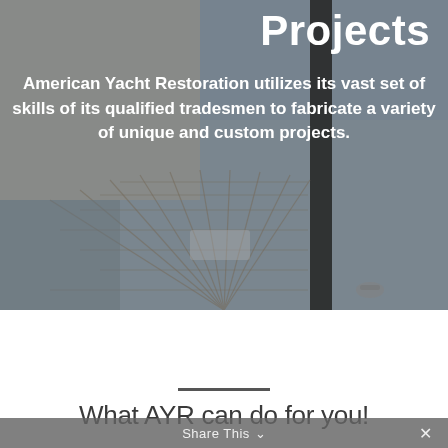[Figure (photo): Aerial view of yacht deck with teak wood decking and mast, seen from above at a marina]
Projects
American Yacht Restoration utilizes its vast set of skills of its qualified tradesmen to fabricate a variety of unique and custom projects.
Learn More
What AYR can do for you!
Share This ∨  ×